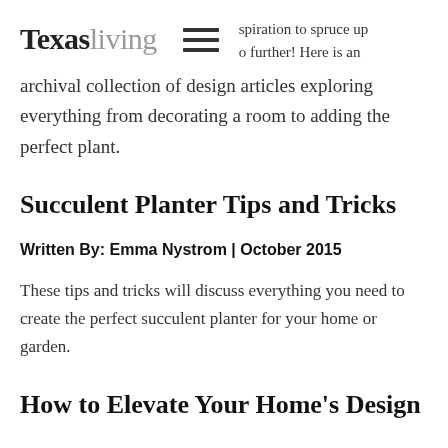Texasliving
spiration to spruce up o further! Here is an archival collection of design articles exploring everything from decorating a room to adding the perfect plant.
Succulent Planter Tips and Tricks
Written By: Emma Nystrom | October 2015
These tips and tricks will discuss everything you need to create the perfect succulent planter for your home or garden.
How to Elevate Your Home’s Design